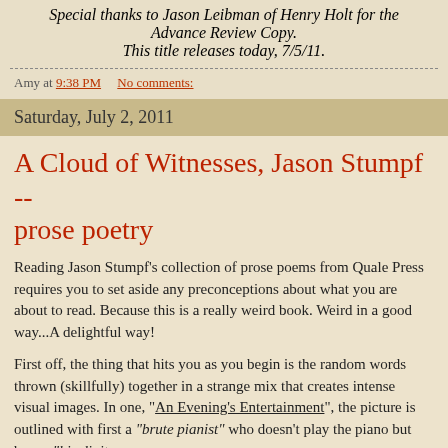Special thanks to Jason Leibman of Henry Holt for the Advance Review Copy. This title releases today, 7/5/11.
Amy at 9:38 PM   No comments:
Saturday, July 2, 2011
A Cloud of Witnesses, Jason Stumpf -- prose poetry
Reading Jason Stumpf's collection of prose poems from Quale Press requires you to set aside any preconceptions about what you are about to read.  Because this is a really weird book.  Weird in a good way...A delightful way!
First off, the thing that hits you as you begin is the random words thrown (skillfully) together in a strange mix that creates intense visual images.  In one, "An Evening's Entertainment", the picture is outlined with first a "brute pianist" who doesn't play the piano but bangs "his digits on